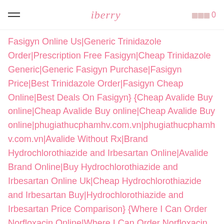iberry  0
Fasigyn Online Us|Generic Trinidazole Order|Prescription Free Fasigyn|Cheap Trinidazole Generic|Generic Fasigyn Purchase|Fasigyn Price|Best Trinidazole Order|Fasigyn Cheap Online|Best Deals On Fasigyn} {Cheap Avalide Buy online|Cheap Avalide Buy online|Cheap Avalide Buy online|phugiathucphamhv.com.vn|phugiathucphamhv.com.vn|Avalide Without Rx|Brand Hydrochlorothiazide and Irbesartan Online|Avalide Brand Online|Buy Hydrochlorothiazide and Irbesartan Online Uk|Cheap Hydrochlorothiazide and Irbesartan Buy|Hydrochlorothiazide and Irbesartan Price Comparison} {Where I Can Order Norfloxacin Online|Where I Can Order Norfloxacin Online|Where I Can Order Norfloxacin Online|theblackexpoonline.com|theblackexpoonline.com|theb